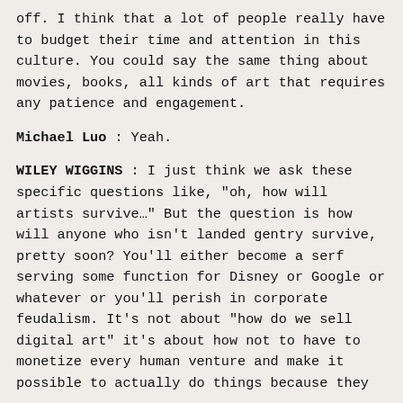off. I think that a lot of people really have to budget their time and attention in this culture. You could say the same thing about movies, books, all kinds of art that requires any patience and engagement.
Michael Luo : Yeah.
WILEY WIGGINS : I just think we ask these specific questions like, "oh, how will artists survive…" But the question is how will anyone who isn't landed gentry survive, pretty soon? You'll either become a serf serving some function for Disney or Google or whatever or you'll perish in corporate feudalism. It's not about "how do we sell digital art" it's about how not to have to monetize every human venture and make it possible to actually do things because they